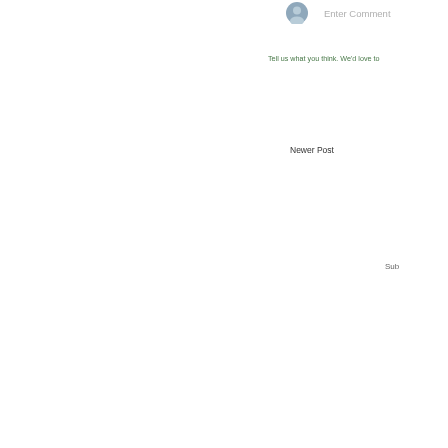[Figure (illustration): User avatar circle icon with bluish-gray color, representing a generic user profile image]
Enter Comment
Tell us what you think. We'd love to
Newer Post
Sub